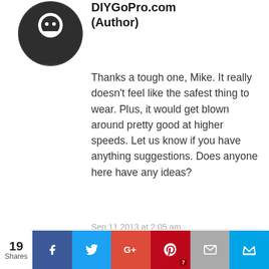[Figure (logo): Circular dark avatar icon with a small bird/person silhouette in white]
DIYGoPro.com (Author)
Thanks a tough one, Mike. It really doesn't feel like the safest thing to wear. Plus, it would get blown around pretty good at higher speeds. Let us know if you have anything suggestions. Does anyone here have any ideas?
Sep.11.2013 at 2:05 am
REPLY
[Figure (infographic): Social share bar with counts: 19 Shares, Facebook, Twitter, Google+, Pinterest (7), Email, Crown icon buttons]